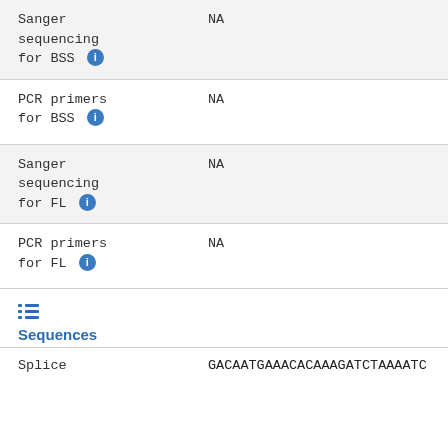| Sanger sequencing for BSS ℹ | NA |
| PCR primers for BSS ℹ | NA |
| Sanger sequencing for FL ℹ | NA |
| PCR primers for FL ℹ | NA |
Sequences
| Splice | GACAATGAAACACAAAGATCTAAAATC |